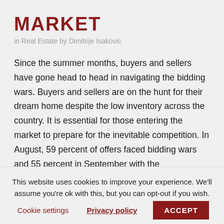MARKET
in Real Estate by Dimitrije Isakovic
Since the summer months, buyers and sellers have gone head to head in navigating the bidding wars. Buyers and sellers are on the hunt for their dream home despite the low inventory across the country. It is essential for those entering the market to prepare for the inevitable competition. In August, 59 percent of offers faced bidding wars and 55 percent in September with the
This website uses cookies to improve your experience. We'll assume you're ok with this, but you can opt-out if you wish.
Cookie settings
Privacy policy
ACCEPT